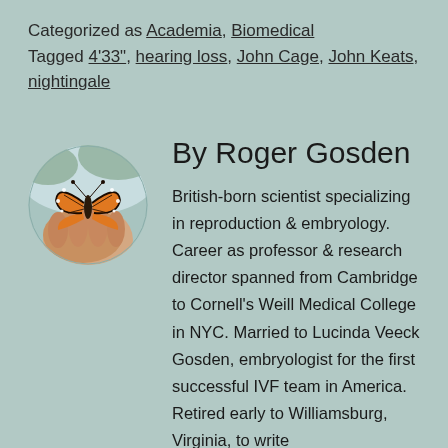Categorized as Academia, Biomedical
Tagged 4'33", hearing loss, John Cage, John Keats, nightingale
[Figure (photo): Circular photo of a monarch butterfly resting on a person's hand, with a blurred outdoor background]
By Roger Gosden
British-born scientist specializing in reproduction & embryology. Career as professor & research director spanned from Cambridge to Cornell's Weill Medical College in NYC. Married to Lucinda Veeck Gosden, embryologist for the first successful IVF team in America. Retired early to Williamsburg, Virginia, to write